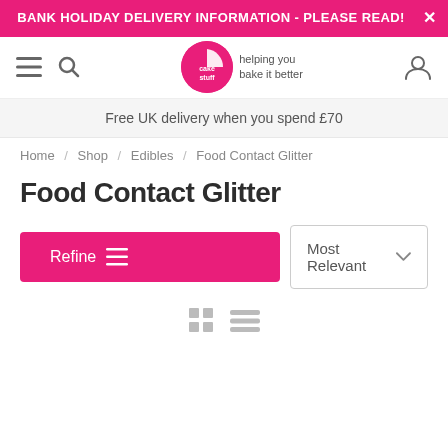BANK HOLIDAY DELIVERY INFORMATION - PLEASE READ!
[Figure (logo): Cake Stuff logo - pink circle with cake slice icon and text 'helping you bake it better']
Free UK delivery when you spend £70
Home / Shop / Edibles / Food Contact Glitter
Food Contact Glitter
Refine  Most Relevant